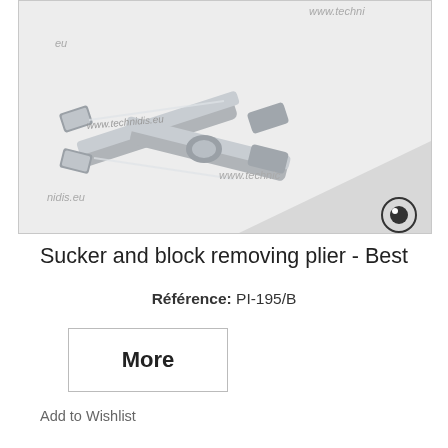[Figure (photo): Sucker and block removing plier tool, metallic/chrome finish, shown from above on a light grey background with watermark text 'www.technidis.eu' repeated across the image and an eye icon logo in the bottom right corner.]
Sucker and block removing plier - Best
Référence: PI-195/B
More
Add to Wishlist